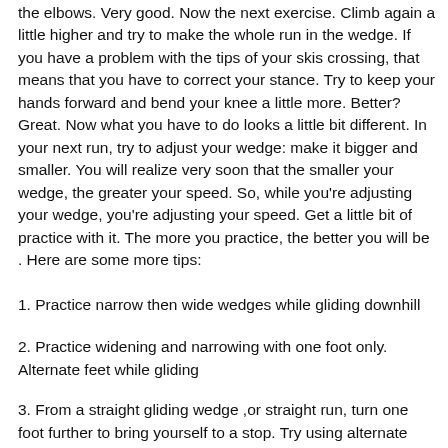the elbows. Very good. Now the next exercise. Climb again a little higher and try to make the whole run in the wedge. If you have a problem with the tips of your skis crossing, that means that you have to correct your stance. Try to keep your hands forward and bend your knee a little more. Better? Great. Now what you have to do looks a little bit different. In your next run, try to adjust your wedge: make it bigger and smaller. You will realize very soon that the smaller your wedge, the greater your speed. So, while you're adjusting your wedge, you're adjusting your speed. Get a little bit of practice with it. The more you practice, the better you will be . Here are some more tips:
1. Practice narrow then wide wedges while gliding downhill
2. Practice widening and narrowing with one foot only. Alternate feet while gliding
3. From a straight gliding wedge ,or straight run, turn one foot further to bring yourself to a stop. Try using alternate